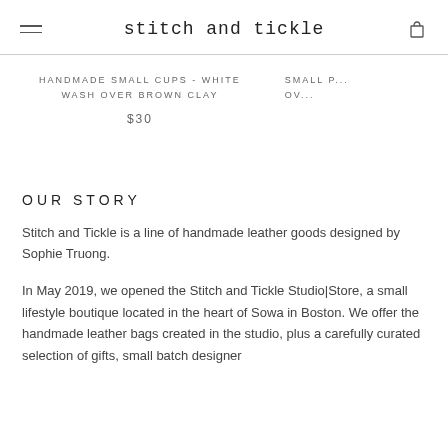stitch and tickle
HANDMADE SMALL CUPS - WHITE WASH OVER BROWN CLAY
$30
SMALL P... OV...
OUR STORY
Stitch and Tickle is a line of handmade leather goods designed by Sophie Truong.
In May 2019, we opened the Stitch and Tickle Studio|Store, a small lifestyle boutique located in the heart of Sowa in Boston. We offer the handmade leather bags created in the studio, plus a carefully curated selection of gifts, small batch designer